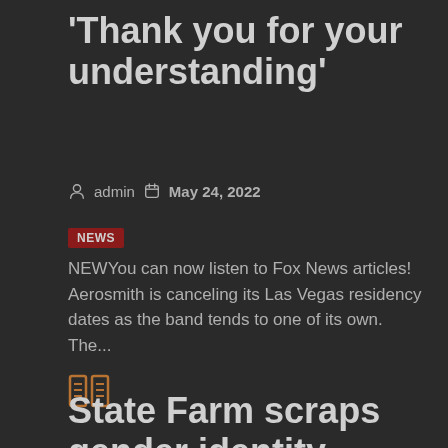‘Thank you for your understanding’
admin   May 24, 2022
NEWS
NEWYou can now listen to Fox News articles! Aerosmith is canceling its Las Vegas residency dates as the band tends to one of its own. The...
State Farm scraps gender identity project after ‘Like a Creepy Neighbor’ campaign brings scrutiny